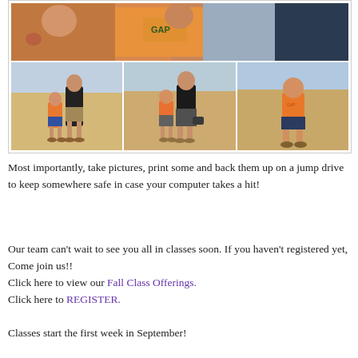[Figure (photo): Collage of beach family photos: one large photo at top showing close-up of people in orange shirts including a GAP shirt, and three smaller photos below showing adults and a child in orange shirts on a beach.]
Most importantly, take pictures, print some and back them up on a jump drive to keep somewhere safe in case your computer takes a hit!
Our team can't wait to see you all in classes soon. If you haven't registered yet, Come join us!!
Click here to view our Fall Class Offerings.
Click here to REGISTER.

Classes start the first week in September!